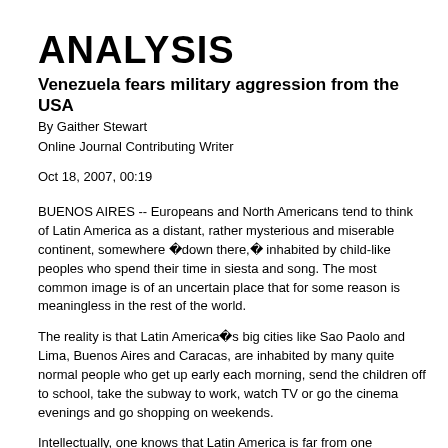ANALYSIS
Venezuela fears military aggression from the USA
By Gaither Stewart
Online Journal Contributing Writer
Oct 18, 2007, 00:19
BUENOS AIRES -- Europeans and North Americans tend to think of Latin America as a distant, rather mysterious and miserable continent, somewhere âdown there,â inhabited by child-like peoples who spend their time in siesta and song. The most common image is of an uncertain place that for some reason is meaningless in the rest of the world.
The reality is that Latin America’s big cities like Sao Paolo and Lima, Buenos Aires and Caracas, are inhabited by many quite normal people who get up early each morning, send the children off to school, take the subway to work, watch TV or go the cinema evenings and go shopping on weekends.
Intellectually, one knows that Latin America is far from one indistinct continent of Spanish or Portuguese speakers or of unidentifiable peoples of indistinguishable origins. As viewed from the southernmost country of this huge continent, quotidian activities across the thousands of miles to the north look normal in the very differences and varieties of the peoples and nations that make it up. With a population of nearly 600 million